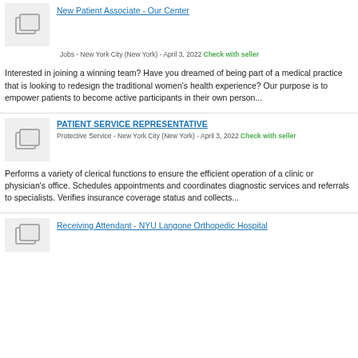[Figure (illustration): Placeholder image icon with overlapping photo frames on grey background]
New Patient Associate - Our Center
Jobs - New York City (New York) - April 3, 2022 Check with seller
Interested in joining a winning team? Have you dreamed of being part of a medical practice that is looking to redesign the traditional women's health experience? Our purpose is to empower patients to become active participants in their own person...
[Figure (illustration): Placeholder image icon with overlapping photo frames on grey background]
PATIENT SERVICE REPRESENTATIVE
Protective Service - New York City (New York) - April 3, 2022 Check with seller
Performs a variety of clerical functions to ensure the efficient operation of a clinic or physician's office. Schedules appointments and coordinates diagnostic services and referrals to specialists. Verifies insurance coverage status and collects...
[Figure (illustration): Placeholder image icon with overlapping photo frames on grey background]
Receiving Attendant - NYU Langone Orthopedic Hospital